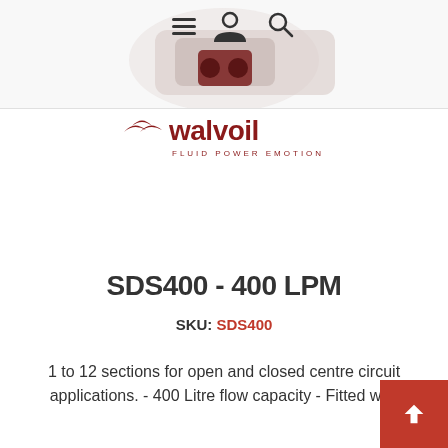[Figure (photo): Partial product photo of a hydraulic valve unit (Walvoil SDS400) shown at top of page, with navigation icons (hamburger menu, user, search) overlaid]
[Figure (logo): Walvoil logo — red bird/chevron symbol with 'walvoil' text in dark red and 'FLUID POWER EMOTION' tagline beneath]
SDS400 - 400 LPM
SKU: SDS400
1 to 12 sections for open and closed centre circuit applications. - 400 Litre flow capacity - Fitted with